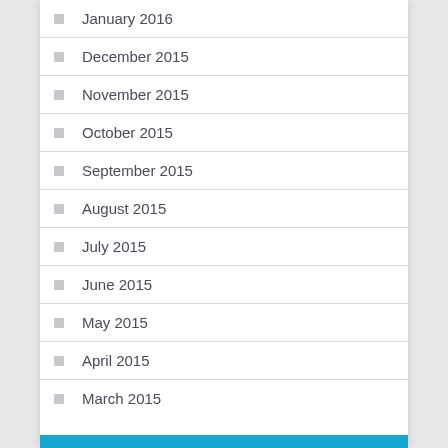January 2016
December 2015
November 2015
October 2015
September 2015
August 2015
July 2015
June 2015
May 2015
April 2015
March 2015
Categories
Business
Health